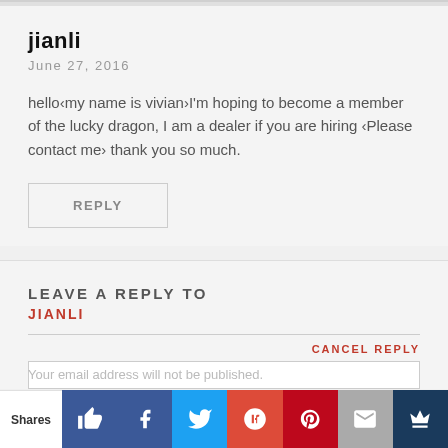jianli
June 27, 2016
hello‹my name is vivian›I'm hoping to become a member of the lucky dragon, I am a dealer if you are hiring ‹Please contact me› thank you so much.
REPLY
LEAVE A REPLY TO
JIANLI
CANCEL REPLY
Your email address will not be published.